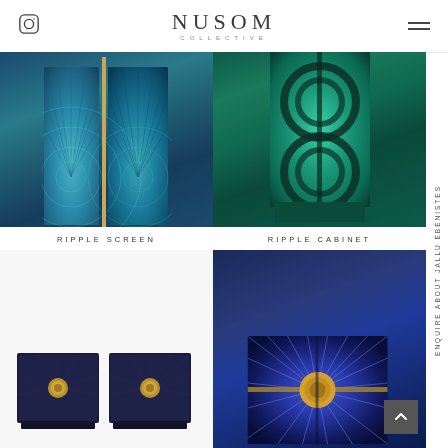NUSOM COLLECTIVE
[Figure (photo): Ripple Screen - folding screen panel with teal/blue radial fan pattern and gold vertical stripe]
RIPPLE SCREEN
[Figure (photo): Ripple Cabinet - tall teal cabinet with large circular ripple pattern on doors]
RIPPLE CABINET
[Figure (photo): Two dark navy bedside tables with circular gold hardware]
[Figure (photo): Navy blue cabinet with sunburst/starburst pattern and central circular gold medallion]
ENQUIRE ABOUT JALLU ÉBÉNISTES